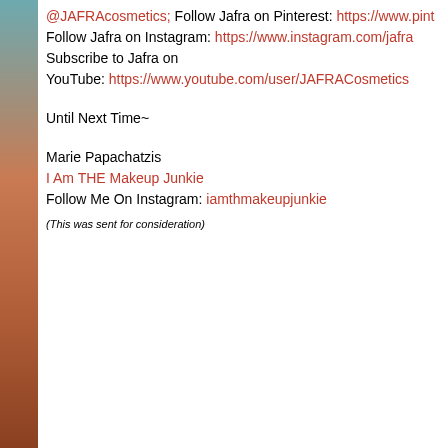@JAFRAcosmetics; Follow Jafra on Pinterest: https://www.pint... Follow Jafra on Instagram: https://www.instagram.com/jafra... Subscribe to Jafra on YouTube: https://www.youtube.com/user/JAFRACosmetics...
Until Next Time~
Marie Papachatzis
I Am THE Makeup Junkie
Follow Me On Instagram: iamthmakeupjunkie
(This was sent for consideration)